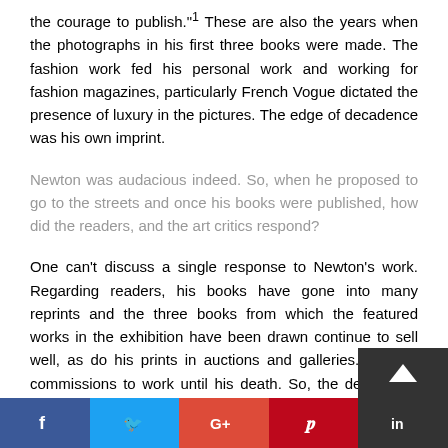the courage to publish."1 These are also the years when the photographs in his first three books were made. The fashion work fed his personal work and working for fashion magazines, particularly French Vogue dictated the presence of luxury in the pictures. The edge of decadence was his own imprint.
Newton was audacious indeed. So, when he proposed to go to the streets and once his books were published, how did the readers, and the art critics respond?
One can't discuss a single response to Newton's work. Regarding readers, his books have gone into many reprints and the three books from which the featured works in the exhibition have been drawn continue to sell well, as do his prints in auctions and galleries. He had commissions to work until his death. So, the demand to own originals or books has been steady, and magazines were confident that work from new commissions would be a positive component in their